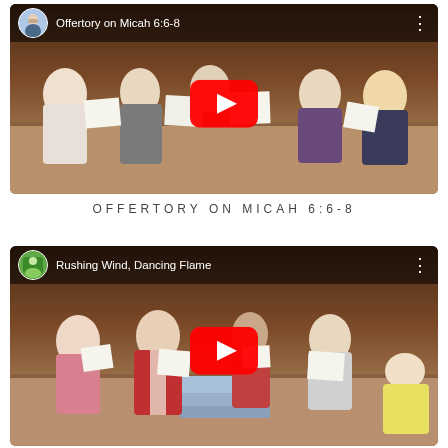[Figure (screenshot): YouTube video thumbnail showing choir members reading from sheet music in a church setting, titled 'Offertory on Micah 6:6-8']
OFFERTORY ON MICAH 6:6-8
[Figure (screenshot): YouTube video thumbnail showing choir members and a priest in red vestments singing in a church setting, titled 'Rushing Wind, Dancing Flame']